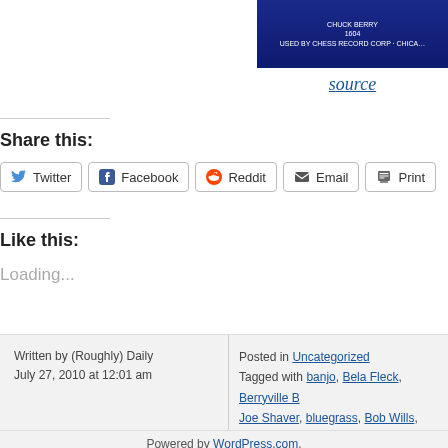[Figure (photo): Partial view of a blue Chuck Berry Chess Records vinyl record label, showing 'CHUCK BERRY', '1604', 'USED BY CHESS RECORD CORP - CHICAGO']
source
Share this:
Twitter Facebook Reddit Email Print
Like this:
Loading...
Written by (Roughly) Daily
July 27, 2010 at 12:01 am
Posted in Uncategorized
Tagged with banjo, Bela Fleck, Berryville B…, Joe Shaver, bluegrass, Bob Wills, Bob Will…, records, Chuck Berry, country, country mus…, Rose, Johnnie Johnson, Johnny Cash, Leo…, Outlaws, Tompall Glaser, Waylon Jennings…
Powered by WordPress.com.